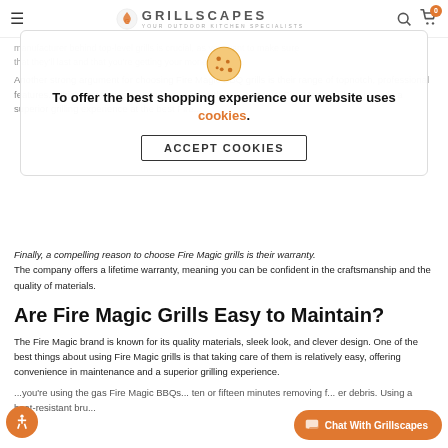GRILLSCAPES — YOUR OUTDOOR KITCHEN SPECIALISTS
[Figure (screenshot): Cookie consent overlay with cookie icon, message 'To offer the best shopping experience our website uses cookies.' and 'ACCEPT COOKIES' button]
manufacturer behind top-level grills is crucial, as you want to make sure that they'll last and that you're getting your money's worth.
Another strong argument for choosing Fire Magic BBQ grills is their range of topnotch, professional features. Whichever series you end up going with, you can trust Fire Magic grills to provide a superior grilling experience at the best Fire...
Finally, a compelling reason to choose Fire Magic grills is their warranty. The company offers a lifetime warranty, meaning you can be confident in the craftsmanship and the quality of materials.
Are Fire Magic Grills Easy to Maintain?
The Fire Magic brand is known for its quality materials, sleek look, and clever design. One of the best things about using Fire Magic grills is that taking care of them is relatively easy, offering convenience in maintenance and a superior grilling experience.
...you're using the gas Fire Magic BBQs... ten or fifteen minutes removing f... er debris. Using a heat-resistant bru...